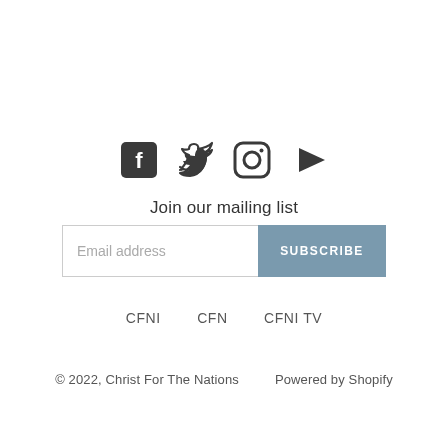[Figure (illustration): Social media icons: Facebook, Twitter, Instagram, YouTube]
Join our mailing list
[Figure (other): Email address input field with SUBSCRIBE button]
CFNI   CFN   CFNI TV
© 2022, Christ For The Nations      Powered by Shopify